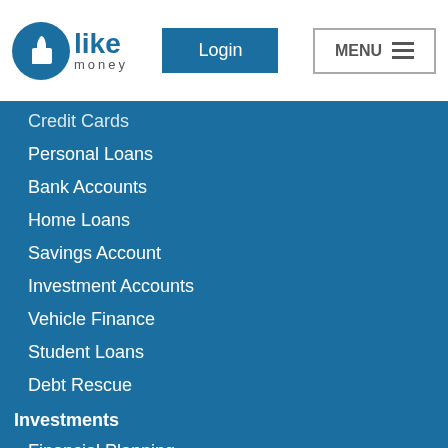[Figure (logo): LikeMoney logo — thumbs up icon in blue circle with 'like money' text]
Login | MENU
Credit Cards (truncated)
Personal Loans
Bank Accounts
Home Loans
Savings Account
Investment Accounts
Vehicle Finance
Student Loans
Debt Rescue
Investments
Financial Planning
Retirement Planning
Share Trading
Unit Trust
Forex Trading
CFD Trading
Invest in gold
Broadband
ADSL
Fibre (truncated)